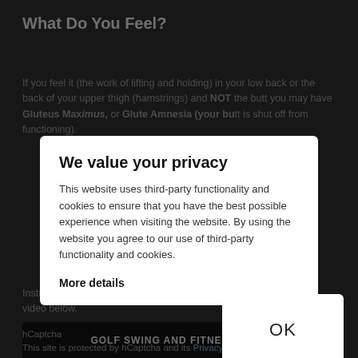What Do You Feel?
If you feel it (the work of lifting and holding) in your low back or the back of your upper thigh (hamstrings) and NOT the butt you may have Gluteus Maximus, or Glute Amnesia (your butt is shut off from functioning)...
Instruct Administer the Sézen to a golf pro by clicking this youtube video below.
[Figure (screenshot): A video thumbnail area showing 'GOLF SWING AND FITNESS WITH' text on dark background]
hCaptcha
This site is protected by hCaptcha and its Privacy Policy and Terms of Service apply.
[Figure (screenshot): Privacy consent modal overlay with title 'We value your privacy', body text about third-party cookies, 'More details' link, and an OK button]
We value your privacy
This website uses third-party functionality and cookies to ensure that you have the best possible experience when visiting the website. By using the website you agree to our use of third-party functionality and cookies.
More details